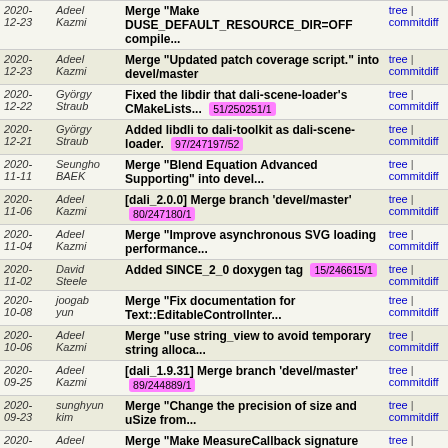| Date | Author | Message | Links |
| --- | --- | --- | --- |
| 2020-12-23 | Adeel Kazmi | Merge "Make DUSE_DEFAULT_RESOURCE_DIR=OFF compile..." | tree | commitdiff |
| 2020-12-23 | Adeel Kazmi | Merge "Updated patch coverage script." into devel/master | tree | commitdiff |
| 2020-12-22 | György Straub | Fixed the libdir that dali-scene-loader's CMakeLists... 51/250251/1 | tree | commitdiff |
| 2020-12-21 | György Straub | Added libdli to dali-toolkit as dali-scene-loader. 97/247197/52 | tree | commitdiff |
| 2020-11-11 | Seungho BAEK | Merge "Blend Equation Advanced Supporting" into devel... | tree | commitdiff |
| 2020-11-06 | Adeel Kazmi | [dali_2.0.0] Merge branch 'devel/master' 80/247180/1 | tree | commitdiff |
| 2020-11-04 | Adeel Kazmi | Merge "Improve asynchronous SVG loading performance..." | tree | commitdiff |
| 2020-11-02 | David Steele | Added SINCE_2_0 doxygen tag 15/246615/1 | tree | commitdiff |
| 2020-10-08 | joogab yun | Merge "Fix documentation for Text::EditableControlInter..." | tree | commitdiff |
| 2020-10-06 | Adeel Kazmi | Merge "use string_view to avoid temporary string alloca..." | tree | commitdiff |
| 2020-09-25 | Adeel Kazmi | [dali_1.9.31] Merge branch 'devel/master' 89/244889/1 | tree | commitdiff |
| 2020-09-23 | sunghyun kim | Merge "Change the precision of size and uSize from..." | tree | commitdiff |
| 2020-09-22 | Adeel Kazmi | Merge "Make MeasureCallback signature .NET friendly..." | tree | commitdiff |